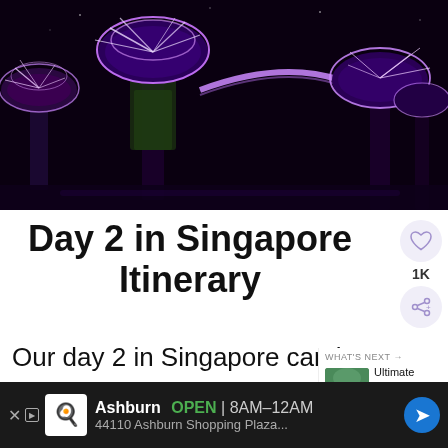[Figure (photo): Night photo of Gardens by the Bay Supertree Grove in Singapore — illuminated purple/white tree structures against a dark sky]
Day 2 in Singapore Itinerary
Our day 2 in Singapore can be as relaxing or as busy as you like. I am
[Figure (photo): WHAT'S NEXT widget showing thumbnail of Krabi landscape with text 'Ultimate Krabi 4 Day...']
Ashburn OPEN 8AM–12AM 44110 Ashburn Shopping Plaza...